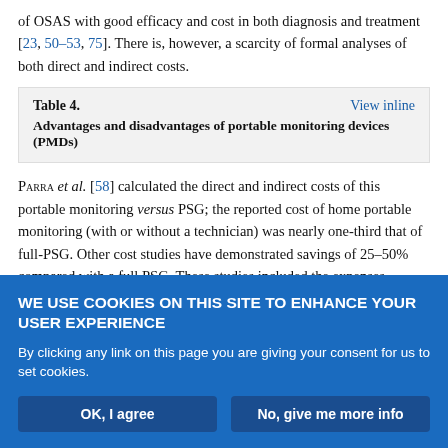of OSAS with good efficacy and cost in both diagnosis and treatment [23, 50–53, 75]. There is, however, a scarcity of formal analyses of both direct and indirect costs.
| Table 4. | View inline |
| Advantages and disadvantages of portable monitoring devices (PMDs) |  |
Parra et al. [58] calculated the direct and indirect costs of this portable monitoring versus PSG; the reported cost of home portable monitoring (with or without a technician) was nearly one-third that of full-PSG. Other cost studies have demonstrated savings of 25–50% compared with a full PSG. These studies included the expenses
WE USE COOKIES ON THIS SITE TO ENHANCE YOUR USER EXPERIENCE
By clicking any link on this page you are giving your consent for us to set cookies.
OK, I agree | No, give me more info